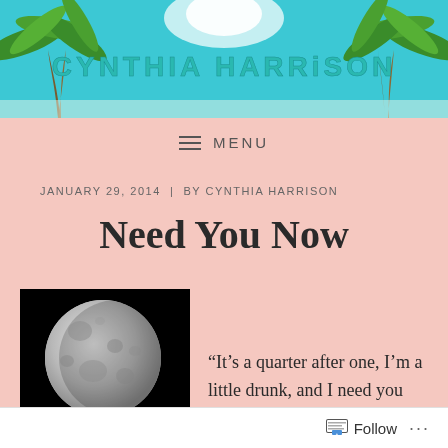[Figure (illustration): Website header banner with tropical beach scene: palm trees on both sides, bright teal sky with clouds, and 'CYNTHIA HARRISON' text centered in teal/green stylized font]
MENU
JANUARY 29, 2014  |  BY CYNTHIA HARRISON
Need You Now
[Figure (photo): Black and white photo of a full moon against a black background]
“It’s a quarter after one, I’m a little drunk, and I need you now.” Music knows. Now that